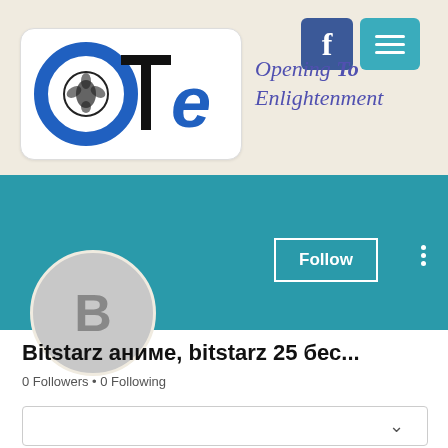[Figure (logo): OTE logo with circular lotus emblem and stylized letters O, T, E in blue and black]
Opening To Enlightenment
[Figure (screenshot): Teal profile banner with Follow button and three-dot menu]
[Figure (illustration): Gray circle avatar with letter B]
Bitstarz аниме, bitstarz 25 бес...
0 Followers • 0 Following
[Figure (other): White card with chevron/dropdown arrow]